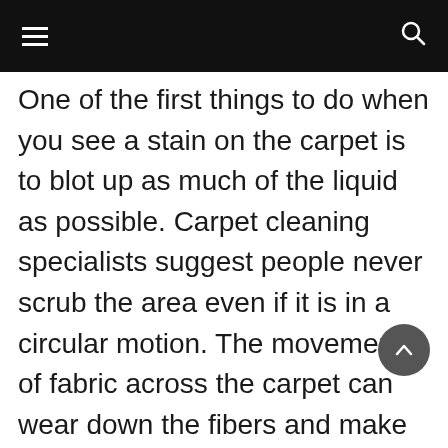≡  🔍
One of the first things to do when you see a stain on the carpet is to blot up as much of the liquid as possible. Carpet cleaning specialists suggest people never scrub the area even if it is in a circular motion. The movement of fabric across the carpet can wear down the fibers and make the area look worn, or later cause raveling. Furthermore, rubbing the dirt, grease, sauce, mud, wine, or juice can make the stain spread getting bigger, and possibly